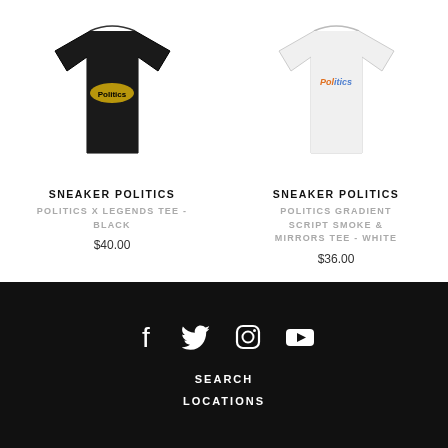[Figure (photo): Black t-shirt with gold logo on chest]
SNEAKER POLITICS
POLITICS X LEGENDS TEE - BLACK
$40.00
[Figure (photo): White t-shirt with colorful gradient script logo on chest]
SNEAKER POLITICS
POLITICS GRADIENT SCRIPT SMOKE & MIRRORS TEE - WHITE
$36.00
Social icons: Facebook, Twitter, Instagram, YouTube | SEARCH | LOCATIONS